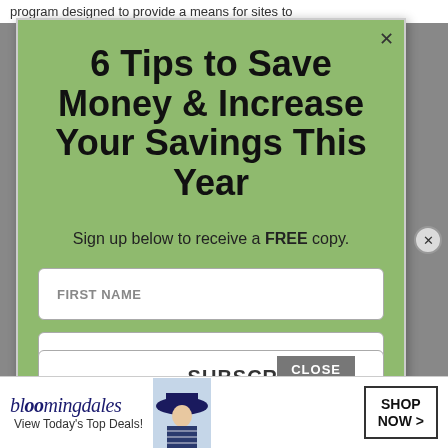program designed to provide a means for sites to
6 Tips to Save Money & Increase Your Savings This Year
Sign up below to receive a FREE copy.
FIRST NAME
EMAIL ADDRESS
SUBSCRIBE
CLOSE
[Figure (screenshot): Bloomingdale's advertisement banner showing logo, 'View Today's Top Deals!' text, a woman in a wide-brim hat, and 'SHOP NOW >' button]